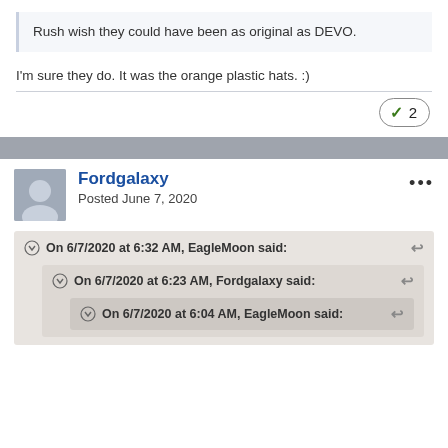Rush wish they could have been as original as DEVO.
I'm sure they do. It was the orange plastic hats. :)
✓ 2
Fordgalaxy
Posted June 7, 2020
On 6/7/2020 at 6:32 AM, EagleMoon said:
On 6/7/2020 at 6:23 AM, Fordgalaxy said:
On 6/7/2020 at 6:04 AM, EagleMoon said: